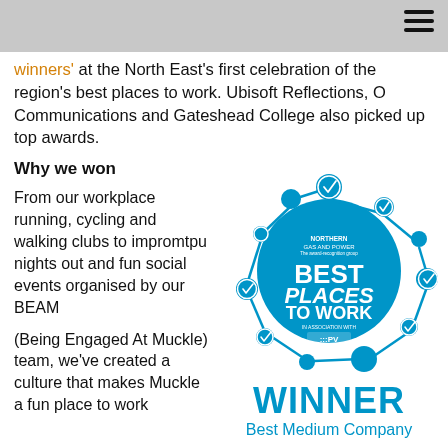winners' at the North East's first celebration of the region's best places to work. Ubisoft Reflections, O Communications and Gateshead College also picked up top awards.
Why we won
From our workplace running, cycling and walking clubs to impromtpu nights out and fun social events organised by our BEAM
(Being Engaged At Muckle) team, we've created a culture that makes Muckle a fun place to work
[Figure (logo): Northern Gas and Power Best Places to Work badge with WINNER and Best Medium Company text]
WINNER
Best Medium Company